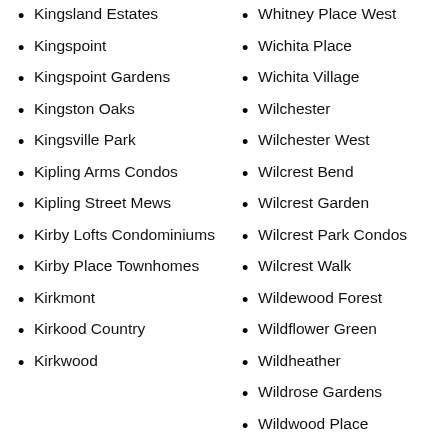Kingsland Estates
Kingspoint
Kingspoint Gardens
Kingston Oaks
Kingsville Park
Kipling Arms Condos
Kipling Street Mews
Kirby Lofts Condominiums
Kirby Place Townhomes
Kirkmont
Kirkood Country
Kirkwood
Whitney Place West
Wichita Place
Wichita Village
Wilchester
Wilchester West
Wilcrest Bend
Wilcrest Garden
Wilcrest Park Condos
Wilcrest Walk
Wildewood Forest
Wildflower Green
Wildheather
Wildrose Gardens
Wildwood Place